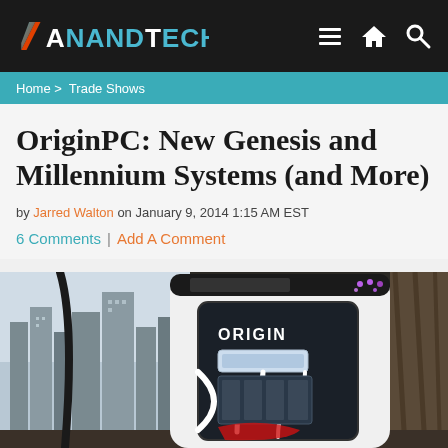AnandTech
Home > Trade Shows
OriginPC: New Genesis and Millennium Systems (and More)
by Jarred Walton on January 9, 2014 1:15 AM EST
6 Comments | Add A Comment
[Figure (photo): Photo of an OriginPC gaming computer case (white and black) with side panel window showing internal components including liquid cooling, positioned near a window with city skyline visible in background]